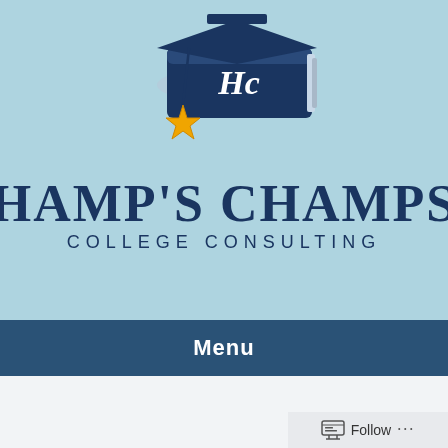[Figure (logo): Hamp's Champs College Consulting logo — a dark navy graduation cap with a book underneath, gold star ornament on the tassel, and white HC monogram on the book cover]
HAMP'S CHAMPS COLLEGE CONSULTING
Menu
Coaching students